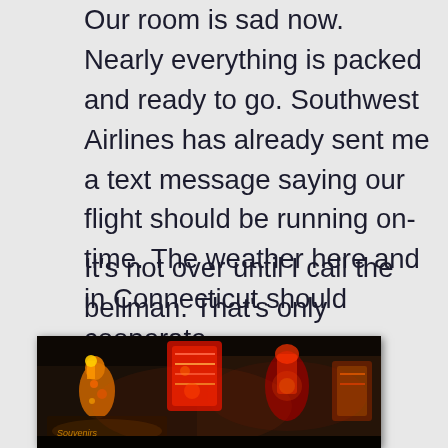Our room is sad now. Nearly everything is packed and ready to go. Southwest Airlines has already sent me a text message saying our flight should be running on-time. The weather here and in Connecticut should cooperate.
It's not over until I call the bellman. That's only minutes away.
[Figure (photo): Night photo of illuminated neon signs and colorful light-up carnival or parade floats/sculptures, showing bright reds, yellows, and oranges against a dark background. Appears to be Las Vegas neon artwork.]